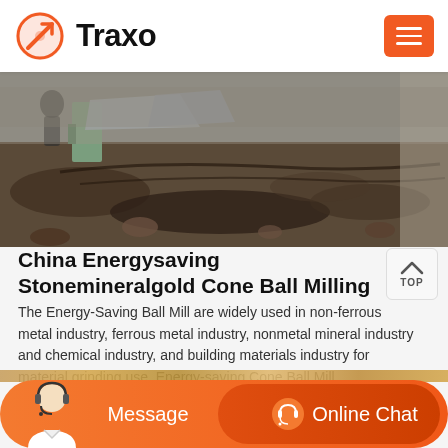Traxo
[Figure (photo): Excavation site with soil and ground digging, workers visible in background near a green structure]
China Energysaving Stonemineralgold Cone Ball Milling
The Energy-Saving Ball Mill are widely used in non-ferrous metal industry, ferrous metal industry, nonmetal mineral industry and chemical industry, and building materials industry for material grinding use. Energy-saving Cone Ball Mill Advantages. 1.High efficiency of grinding. 2.Low failure rate.
[Figure (screenshot): Bottom chat bar with Message button and Online Chat button, and a customer service avatar on the left]